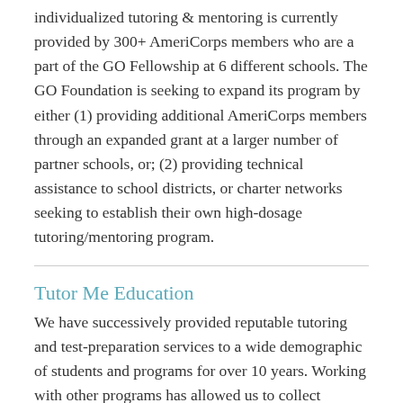individualized tutoring & mentoring is currently provided by 300+ AmeriCorps members who are a part of the GO Fellowship at 6 different schools. The GO Foundation is seeking to expand its program by either (1) providing additional AmeriCorps members through an expanded grant at a larger number of partner schools, or; (2) providing technical assistance to school districts, or charter networks seeking to establish their own high-dosage tutoring/mentoring program.
Tutor Me Education
We have successively provided reputable tutoring and test-preparation services to a wide demographic of students and programs for over 10 years. Working with other programs has allowed us to collect extensive data and insight which we have used to create individualized strategies needed to